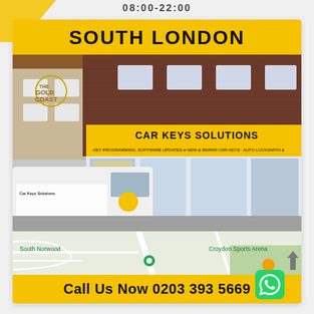08:00-22:00
[Figure (photo): Car Keys Solutions shop front in South London with a branded white van parked in front. The store has a yellow signage reading 'CAR KEYS SOLUTIONS' with text 'KEY PROGRAMMING, SOFTWARE UPDATES - NEW & REPAIR CAR KEYS - AUTO LOCKSMITH'. Next to the store is 'The Gold Coast' building.]
[Figure (map): Street map showing South Norwood area, Croydon Sports Arena, with road markings and green areas visible.]
Call Us Now 0203 393 5669